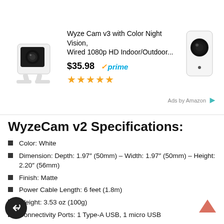[Figure (photo): Amazon ad banner showing Wyze Cam v3 product image on left and secondary product image on right]
Wyze Cam v3 with Color Night Vision, Wired 1080p HD Indoor/Outdoor...
$35.98 ✓prime ★★★★★
Ads by Amazon
WyzeCam v2 Specifications:
Color: White
Dimension: Depth: 1.97″ (50mm) – Width: 1.97″ (50mm) – Height: 2.20″ (56mm)
Finish: Matte
Power Cable Length: 6 feet (1.8m)
Weight: 3.53 oz (100g)
Connectivity Ports: 1 Type-A USB, 1 micro USB
Mounting Method: Magnetic
Power Adapter Output: 5V/1000mA